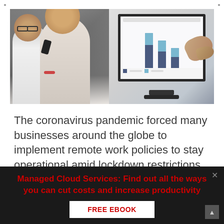[Figure (photo): Left half shows two people (man and woman) in an office setting, one on phone. Right half shows a computer monitor displaying a bar chart with dark blue and light blue stacked bars, and a hand pointing at the screen.]
The coronavirus pandemic forced many businesses around the globe to implement remote work policies to stay operational amid lockdown restrictions. But shifting to a work from home setup came with its own set of productivity and cybersecurity challenges. For instance, a typical home network is not designed
Managed Cloud Services: Find out all the ways you can cut costs and increase productivity
FREE EBOOK